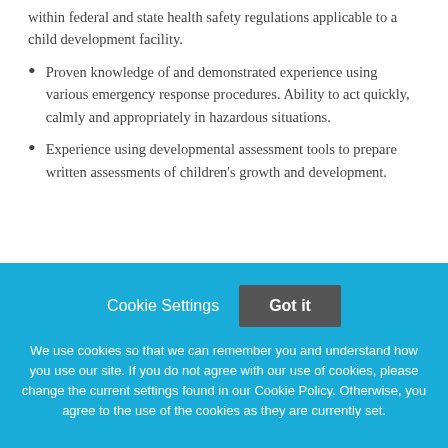within federal and state health safety regulations applicable to a child development facility.
Proven knowledge of and demonstrated experience using various emergency response procedures. Ability to act quickly, calmly and appropriately in hazardous situations.
Experience using developmental assessment tools to prepare written assessments of children's growth and development.
Cookie Settings  Got it
We use cookies so that we can remember you and understand how you use our site. If you do not agree with our use of cookies, please change the current settings found in our Cookie Policy. Otherwise, you agree to the use of the cookies as they are currently set.